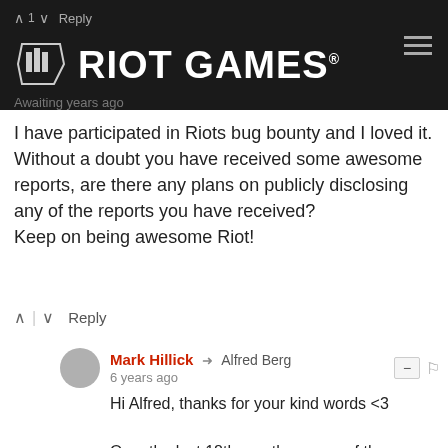[Figure (logo): Riot Games logo on dark background navigation bar]
I have participated in Riots bug bounty and I loved it. Without a doubt you have received some awesome reports, are there any plans on publicly disclosing any of the reports you have received?
Keep on being awesome Riot!
Mark Hillick → Alfred Berg
6 years ago
Hi Alfred, thanks for your kind words <3

Over the last 18th months, some of the InfoSec team have begun reaching out more and talking about our security challenges through presenting at conferences (AppSec Cali, BruCon, AppSec EU, Devox U SecurityFest etc) and holding security events at our Dublin and LA offices (both independently and also with the Owaps and ISSA).